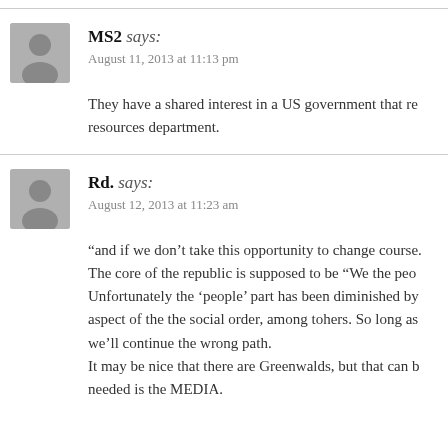MS2 says: August 11, 2013 at 11:13 pm
They have a shared interest in a US government that re- resources department.
Rd. says: August 12, 2013 at 11:23 am
“and if we don’t take this opportunity to change course. The core of the republic is supposed to be “We the peo- Unfortunately the ‘people’ part has been diminished by aspect of the the social order, among tohers. So long as we’ll continue the wrong path. It may be nice that there are Greenwalds, but that can b- needed is the MEDIA.